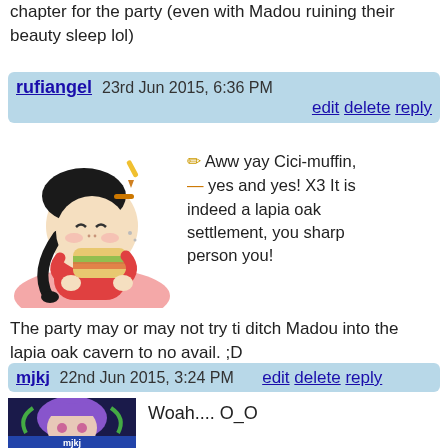chapter for the party (even with Madou ruining their beauty sleep lol)
rufiangel   23rd Jun 2015, 6:36 PM    edit  delete  reply
[Figure (illustration): Cartoon illustration of a girl eating a sandwich with pencil and dash icons]
Aww yay Cici-muffin, yes and yes! X3 It is indeed a lapia oak settlement, you sharp person you!
The party may or may not try ti ditch Madou into the lapia oak cavern to no avail. ;D
mjkj   22nd Jun 2015, 3:24 PM    edit  delete  reply
[Figure (illustration): Avatar image of mjkj: anime-style character with purple hair]
Woah.... O_O

Beautiful...